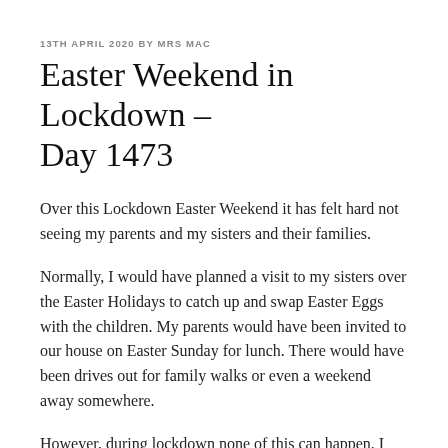13TH APRIL 2020 BY MRS MAC
Easter Weekend in Lockdown – Day 1473
Over this Lockdown Easter Weekend it has felt hard not seeing my parents and my sisters and their families.
Normally, I would have planned a visit to my sisters over the Easter Holidays to catch up and swap Easter Eggs with the children. My parents would have been invited to our house on Easter Sunday for lunch. There would have been drives out for family walks or even a weekend away somewhere.
However, during lockdown none of this can happen. I don't want to dwell on what I cannot do though. That is too easy and does not actually help me. When I find